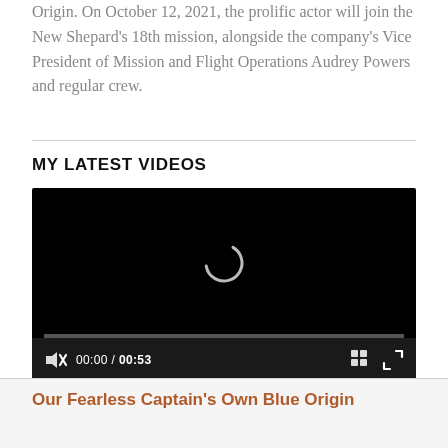Origin. On October 12, 2021, the prolific actor will join the New Shepard's 18th mission, alongside the company's Vice President of Mission and Flight Operations Audrey Powers and regular crew.
MY LATEST VIDEOS
[Figure (screenshot): Video player showing a black screen with a loading spinner (circular arc) in the center, a progress bar, and controls showing mute icon, 00:00 / 00:53, grid icon, and fullscreen icon.]
Our Fearless Captain's Own Blue Origin